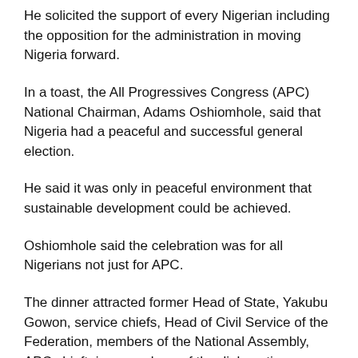He solicited the support of every Nigerian including the opposition for the administration in moving Nigeria forward.
In a toast, the All Progressives Congress (APC) National Chairman, Adams Oshiomhole, said that Nigeria had a peaceful and successful general election.
He said it was only in peaceful environment that sustainable development could be achieved.
Oshiomhole said the celebration was for all Nigerians not just for APC.
The dinner attracted former Head of State, Yakubu Gowon, service chiefs, Head of Civil Service of the Federation, members of the National Assembly, APC chieftains, members of the diplomatic corps and captains of industry.
NAN
Similar Posts: